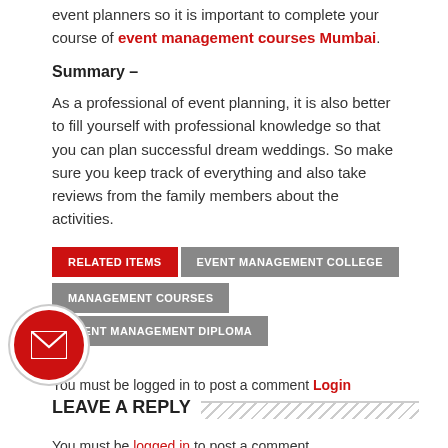event planners so it is important to complete your course of event management courses Mumbai.
Summary –
As a professional of event planning, it is also better to fill yourself with professional knowledge so that you can plan successful dream weddings. So make sure you keep track of everything and also take reviews from the family members about the activities.
RELATED ITEMS
EVENT MANAGEMENT COLLEGE
EVENT MANAGEMENT COURSES
EVENT MANAGEMENT DIPLOMA
You must be logged in to post a comment Login
LEAVE A REPLY
You must be logged in to post a comment.
MANAGEMENT